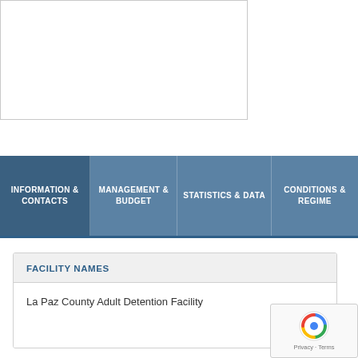[Figure (screenshot): White content area with border, partial webpage screenshot top area]
INFORMATION & CONTACTS
MANAGEMENT & BUDGET
STATISTICS & DATA
CONDITIONS & REGIME
FACILITY NAMES
La Paz County Adult Detention Facility
LOCATION